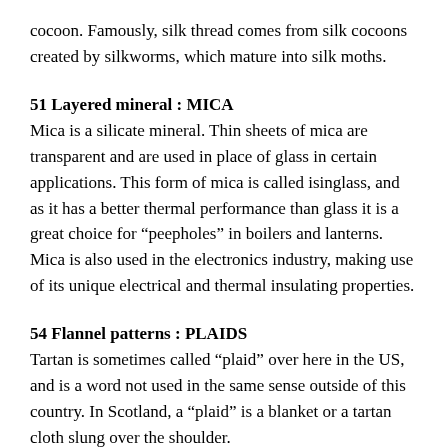cocoon. Famously, silk thread comes from silk cocoons created by silkworms, which mature into silk moths.
51 Layered mineral : MICA
Mica is a silicate mineral. Thin sheets of mica are transparent and are used in place of glass in certain applications. This form of mica is called isinglass, and as it has a better thermal performance than glass it is a great choice for “peepholes” in boilers and lanterns. Mica is also used in the electronics industry, making use of its unique electrical and thermal insulating properties.
54 Flannel patterns : PLAIDS
Tartan is sometimes called “plaid” over here in the US, and is a word not used in the same sense outside of this country. In Scotland, a “plaid” is a blanket or a tartan cloth slung over the shoulder.
Flannel is a fabric, originally woven using worsted wool,